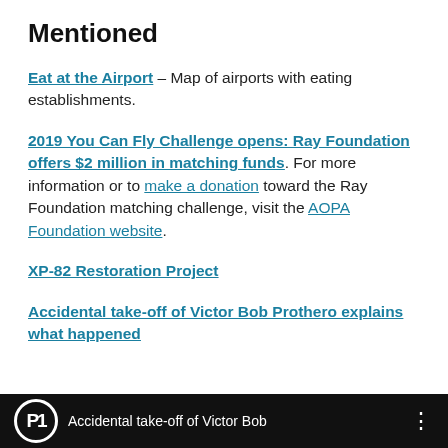Mentioned
Eat at the Airport – Map of airports with eating establishments.
2019 You Can Fly Challenge opens: Ray Foundation offers $2 million in matching funds. For more information or to make a donation toward the Ray Foundation matching challenge, visit the AOPA Foundation website.
XP-82 Restoration Project
Accidental take-off of Victor Bob Prothero explains what happened
[Figure (screenshot): Black video bar at the bottom showing a circular P1 logo and text 'Accidental take-off of Victor Bob' with a menu icon.]